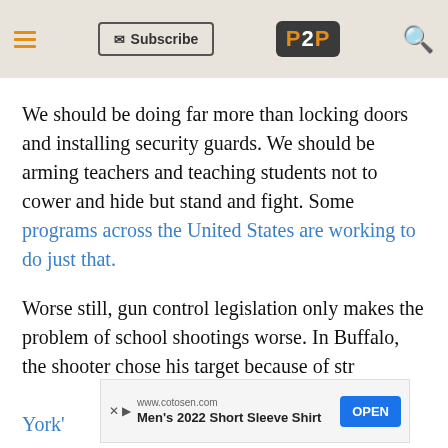P2P — Subscribe / Search navigation bar
We should be doing far more than locking doors and installing security guards. We should be arming teachers and teaching students not to cower and hide but stand and fight. Some programs across the United States are working to do just that.
Worse still, gun control legislation only makes the problem of school shootings worse. In Buffalo, the shooter chose his target because of str... New York's...